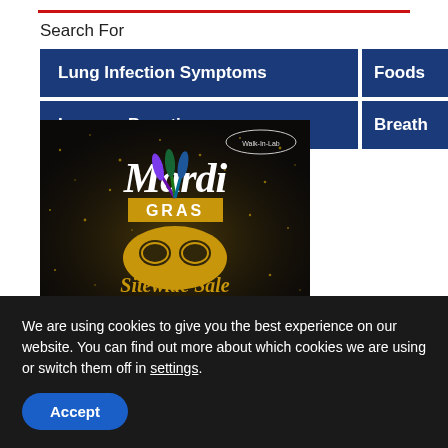Search For
Lung Infection Symptoms
Foods
Immune Boosting
Breath
[Figure (photo): Mardi Gras Sitewide Sale advertisement banner with gold mask, feathers, and glitter on black background. Walk-In-Lab logo in top right corner.]
We are using cookies to give you the best experience on our website. You can find out more about which cookies we are using or switch them off in settings.
Accept